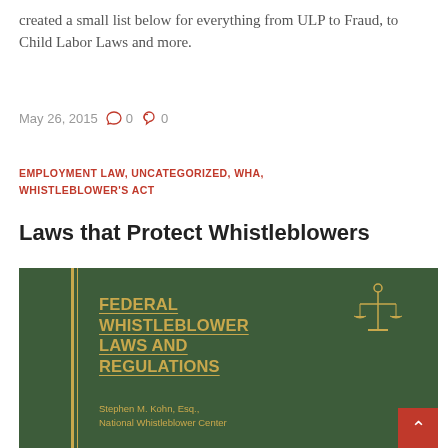created a small list below for everything from ULP to Fraud, to Child Labor Laws and more.
May 26, 2015   0   0
EMPLOYMENT LAW, UNCATEGORIZED, WHA, WHISTLEBLOWER'S ACT
Laws that Protect Whistleblowers
[Figure (photo): Cover of the book 'Federal Whistleblower Laws and Regulations' by Stephen M. Kohn, Esq., National Whistleblower Center. Green hardcover with gold text and scales of justice emblem.]